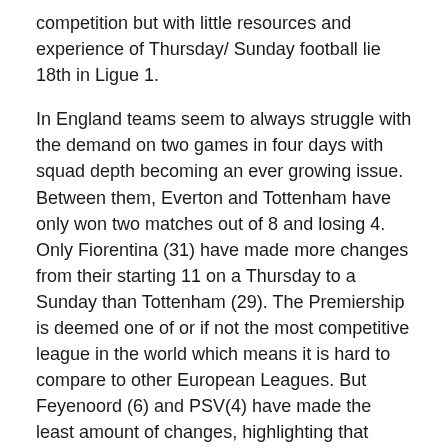competition but with little resources and experience of Thursday/ Sunday football lie 18th in Ligue 1.
In England teams seem to always struggle with the demand on two games in four days with squad depth becoming an ever growing issue. Between them, Everton and Tottenham have only won two matches out of 8 and losing 4. Only Fiorentina (31) have made more changes from their starting 11 on a Thursday to a Sunday than Tottenham (29). The Premiership is deemed one of or if not the most competitive league in the world which means it is hard to compare to other European Leagues. But Feyenoord (6) and PSV(4) have made the least amount of changes, highlighting that players can play 2 days in four days. The age old question is can a team be successful on all fronts making so many changes?